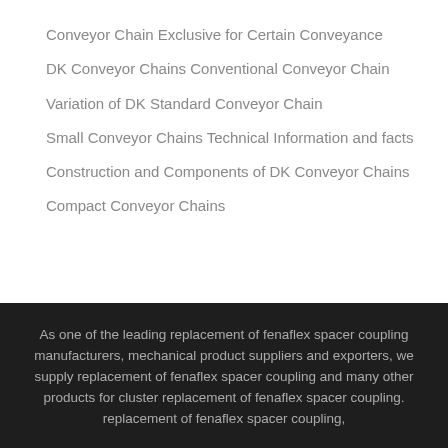Conveyor Chain Exclusive for Certain Conveyance
DK Conveyor Chains Conventional Conveyor Chain
Variation of DK Standard Conveyor Chain
Small Conveyor Chains Technical Information and facts
Construction and Components of DK Conveyor Chains
Compact Conveyor Chains
As one of the leading replacement of fenaflex spacer coupling manufacturers, mechanical product suppliers and exporters, we supply replacement of fenaflex spacer coupling and many other products for cluster replacement of fenaflex spacer coupling. replacement of fenaflex spacer coupling,